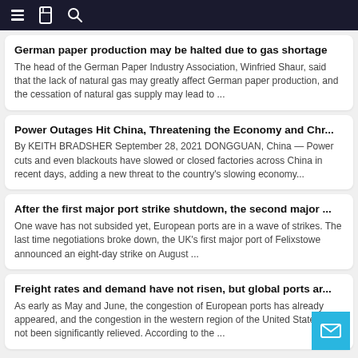Navigation bar with menu, bookmark, and search icons
German paper production may be halted due to gas shortage
The head of the German Paper Industry Association, Winfried Shaur, said that the lack of natural gas may greatly affect German paper production, and the cessation of natural gas supply may lead to ...
Power Outages Hit China, Threatening the Economy and Chr...
By KEITH BRADSHER September 28, 2021 DONGGUAN, China — Power cuts and even blackouts have slowed or closed factories across China in recent days, adding a new threat to the country's slowing economy...
After the first major port strike shutdown, the second major ...
One wave has not subsided yet, European ports are in a wave of strikes. The last time negotiations broke down, the UK's first major port of Felixstowe announced an eight-day strike on August ...
Freight rates and demand have not risen, but global ports ar...
As early as May and June, the congestion of European ports has already appeared, and the congestion in the western region of the United States has not been significantly relieved. According to the ...